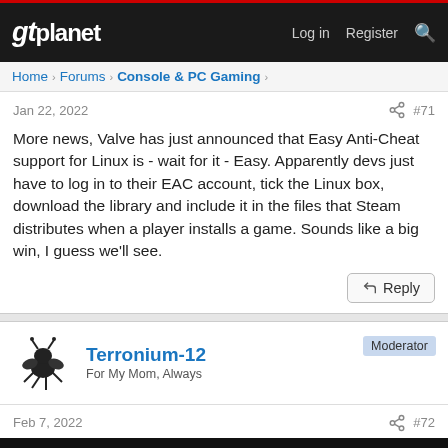gtplanet | Log in  Register
Home > Forums > Console & PC Gaming >
Jan 22, 2022  #71
More news, Valve has just announced that Easy Anti-Cheat support for Linux is - wait for it - Easy. Apparently devs just have to log in to their EAC account, tick the Linux box, download the library and include it in the files that Steam distributes when a player installs a game. Sounds like a big win, I guess we'll see.
Reply
Terronium-12  Moderator
For My Mom, Always
Feb 7, 2022  #72
[Figure (screenshot): Video thumbnail showing 'The Valve Steam Deck Unboxing Exp...' title on dark background]